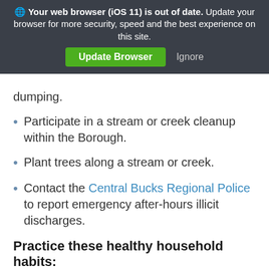[Figure (screenshot): Browser update notification banner: 'Your web browser (iOS 11) is out of date. Update your browser for more security, speed and the best experience on this site.' with 'Update Browser' green button and 'Ignore' link.]
dumping.
Participate in a stream or creek cleanup within the Borough.
Plant trees along a stream or creek.
Contact the Central Bucks Regional Police to report emergency after-hours illicit discharges.
Practice these healthy household habits:
Use fertilizers sparingly
Use pesticides only when necessary
Do not blow grass clippings or leaves into the street or inlets